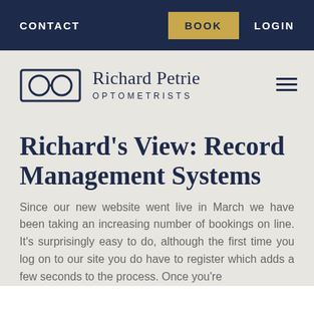CONTACT | BOOK | LOGIN
[Figure (logo): Richard Petrie Optometrists logo with glasses icon and company name]
Richard's View: Record Management Systems
Since our new website went live in March we have been taking an increasing number of bookings on line. It's surprisingly easy to do, although the first time you log on to our site you do have to register which adds a few seconds to the process. Once you're